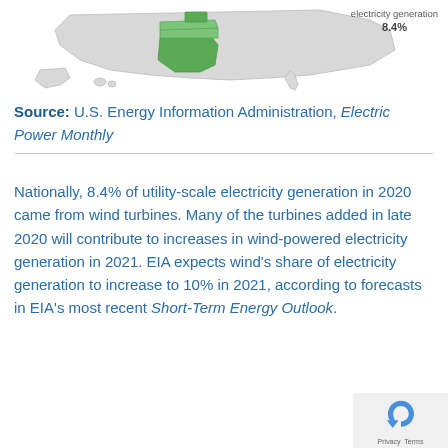[Figure (map): Partial U.S. map showing states highlighted in green (Texas and surrounding wind energy states). Label in top-right reads 'electricity generation 8.4%'.]
Source: U.S. Energy Information Administration, Electric Power Monthly
Nationally, 8.4% of utility-scale electricity generation in 2020 came from wind turbines. Many of the turbines added in late 2020 will contribute to increases in wind-powered electricity generation in 2021. EIA expects wind's share of electricity generation to increase to 10% in 2021, according to forecasts in EIA's most recent Short-Term Energy Outlook.